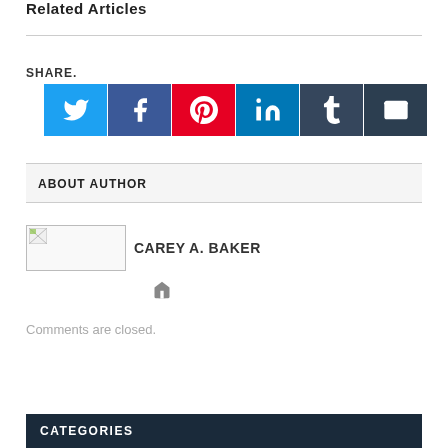Related Articles
SHARE.
[Figure (other): Social media share buttons: Twitter (blue), Facebook (dark blue), Pinterest (red), LinkedIn (blue), Tumblr (dark blue-grey), Email (dark grey)]
ABOUT AUTHOR
[Figure (other): Author photo placeholder (broken image) for Carey A. Baker]
CAREY A. BAKER
[Figure (other): Home/website icon for author]
Comments are closed.
CATEGORIES